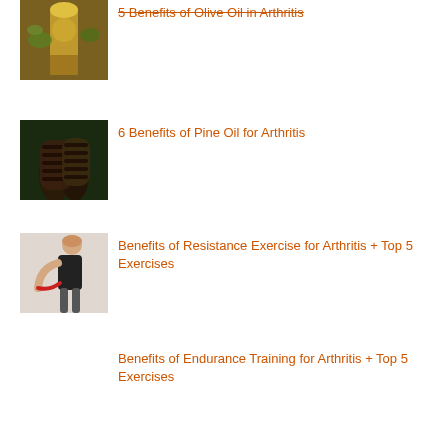[Figure (photo): Olive oil bottle with olive branch and yellow-green oil visible]
5 Benefits of Olive Oil in Arthritis
[Figure (photo): Pine cones on dark background with striped texture]
6 Benefits of Pine Oil for Arthritis
[Figure (photo): Woman in black tank top using resistance band on shoulder]
Benefits of Resistance Exercise for Arthritis + Top 5 Exercises
Benefits of Endurance Training for Arthritis + Top 5 Exercises